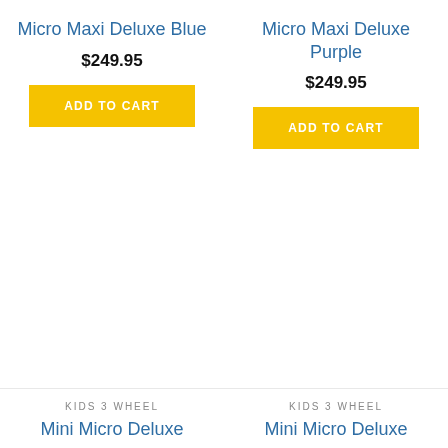Micro Maxi Deluxe Blue
$249.95
ADD TO CART
Micro Maxi Deluxe Purple
$249.95
ADD TO CART
KIDS 3 WHEEL
Mini Micro Deluxe
KIDS 3 WHEEL
Mini Micro Deluxe